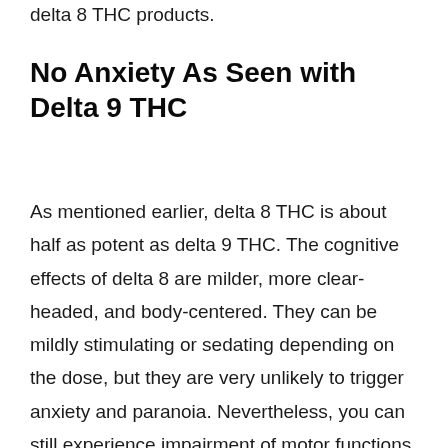delta 8 THC products.
No Anxiety As Seen with Delta 9 THC
As mentioned earlier, delta 8 THC is about half as potent as delta 9 THC. The cognitive effects of delta 8 are milder, more clear-headed, and body-centered. They can be mildly stimulating or sedating depending on the dose, but they are very unlikely to trigger anxiety and paranoia. Nevertheless, you can still experience impairment of motor functions, problems with short-term memory, and a serious case of the munchies on top of the classic cottonmouth and